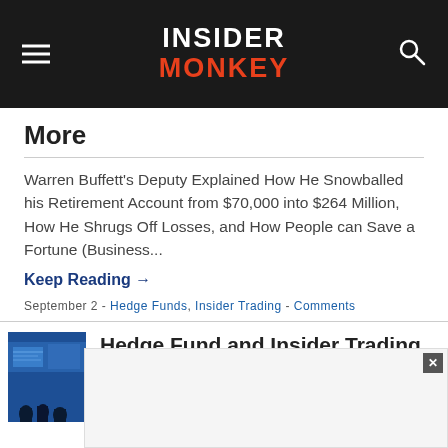INSIDER MONKEY
More
Warren Buffett's Deputy Explained How He Snowballed his Retirement Account from $70,000 into $264 Million, How He Shrugs Off Losses, and How People can Save a Fortune (Business...
Keep Reading →
September 2 - Hedge Funds, Insider Trading - Comments
[Figure (photo): Blue-toned photo of people silhouetted against financial data screens]
Hedge Fund and Insider Trading